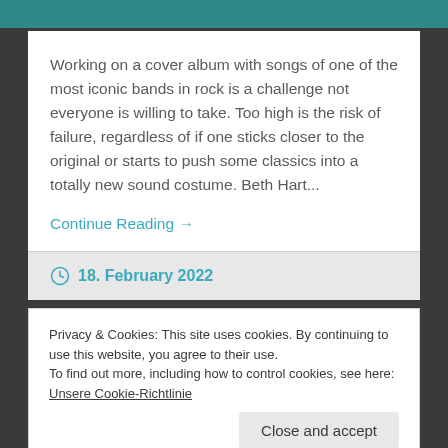[Figure (photo): Teal/dark image strip at the top of the page, partially visible]
Working on a cover album with songs of one of the most iconic bands in rock is a challenge not everyone is willing to take. Too high is the risk of failure, regardless of if one sticks closer to the original or starts to push some classics into a totally new sound costume. Beth Hart...
Continue Reading →
18. February 2022
Privacy & Cookies: This site uses cookies. By continuing to use this website, you agree to their use.
To find out more, including how to control cookies, see here: Unsere Cookie-Richtlinie
Close and accept